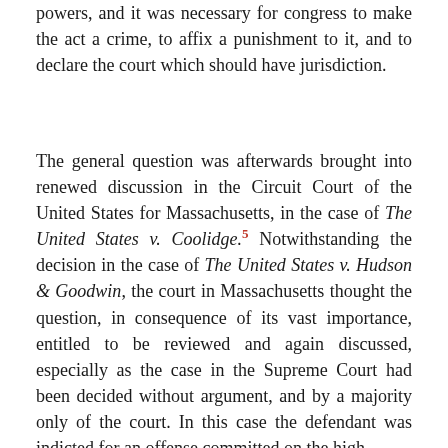powers, and it was necessary for congress to make the act a crime, to affix a punishment to it, and to declare the court which should have jurisdiction.
The general question was afterwards brought into renewed discussion in the Circuit Court of the United States for Massachusetts, in the case of The United States v. Coolidge.5 Notwithstanding the decision in the case of The United States v. Hudson & Goodwin, the court in Massachusetts thought the question, in consequence of its vast importance, entitled to be reviewed and again discussed, especially as the case in the Supreme Court had been decided without argument, and by a majority only of the court. In this case the defendant was indicted for an offense committed on the high